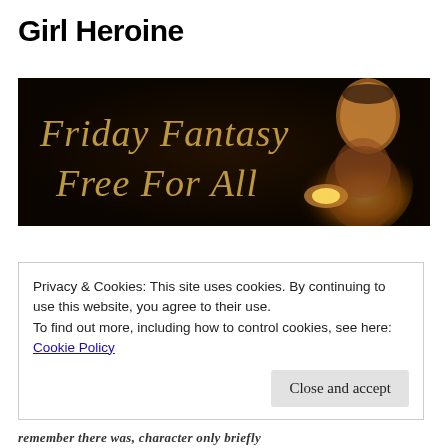Girl Heroine
[Figure (illustration): Dark banner image with golden script text reading 'Friday Fantasy Free For All' and a woman with glowing light in her hands on the right side]
Privacy & Cookies: This site uses cookies. By continuing to use this website, you agree to their use.
To find out more, including how to control cookies, see here:
Cookie Policy
Close and accept
remember there was, character only briefly